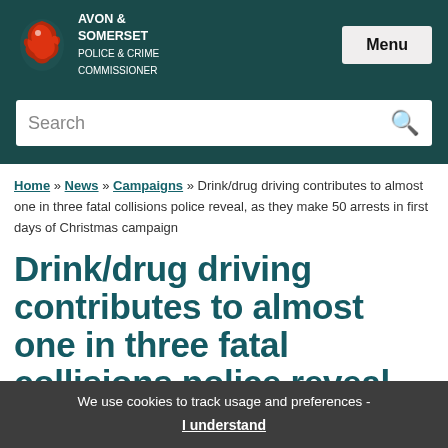[Figure (logo): Avon & Somerset Police & Crime Commissioner logo with red dragon and white text on dark teal background, with Menu button]
Search
Home » News » Campaigns » Drink/drug driving contributes to almost one in three fatal collisions police reveal, as they make 50 arrests in first days of Christmas campaign
Drink/drug driving contributes to almost one in three fatal collisions police reveal, as they make 50 arrests in first
We use cookies to track usage and preferences - I understand